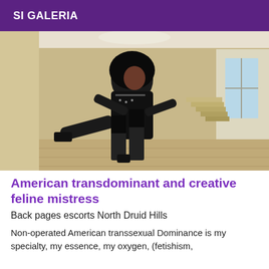SI GALERIA
[Figure (photo): A person wearing a black dress and high heels posing in a room with light wood-colored walls and flooring, photographed at an angle.]
American transdominant and creative feline mistress
Back pages escorts North Druid Hills
Non-operated American transsexual Dominance is my specialty, my essence, my oxygen, (fetishism,